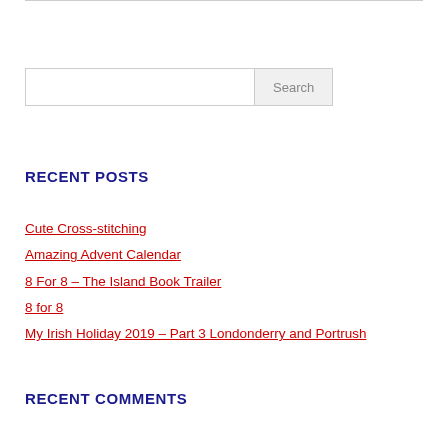Search
RECENT POSTS
Cute Cross-stitching
Amazing Advent Calendar
8 For 8 – The Island Book Trailer
8 for 8
My Irish Holiday 2019 – Part 3 Londonderry and Portrush
RECENT COMMENTS